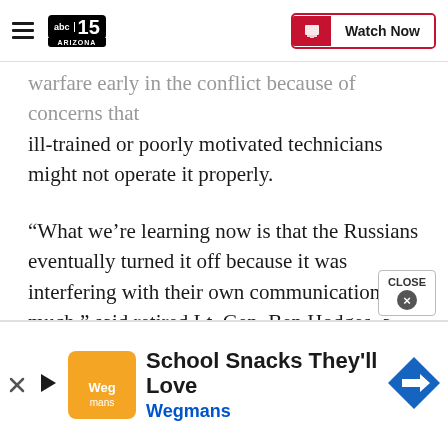abc15 Arizona — Watch Now
warfare early in the conflict because of concerns that ill-trained or poorly motivated technicians might not operate it properly.
“What we’re learning now is that the Russians eventually turned it off because it was interfering with their own communications so much,” said retired Lt. Gen. Ben Hodges, a former U.S. Army commander for Europe.
The communications problems were evident with
[Figure (screenshot): Advertisement banner for Wegmans: School Snacks They'll Love]
CLOSE ×